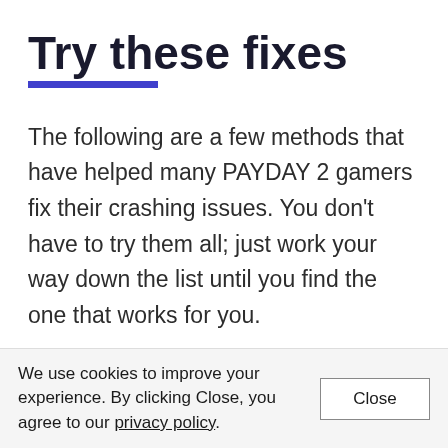Try these fixes
The following are a few methods that have helped many PAYDAY 2 gamers fix their crashing issues. You don't have to try them all; just work your way down the list until you find the one that works for you.
1. Remove your mods
We use cookies to improve your experience. By clicking Close, you agree to our privacy policy.